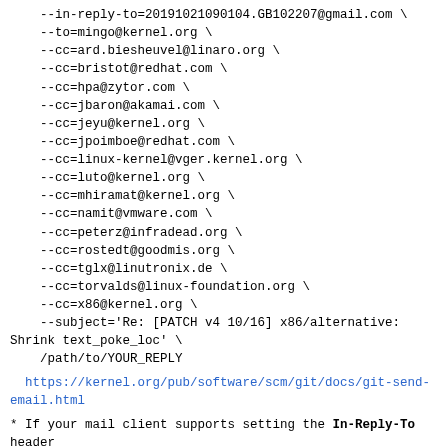--in-reply-to=20191021090104.GB102207@gmail.com \
    --to=mingo@kernel.org \
    --cc=ard.biesheuvel@linaro.org \
    --cc=bristot@redhat.com \
    --cc=hpa@zytor.com \
    --cc=jbaron@akamai.com \
    --cc=jeyu@kernel.org \
    --cc=jpoimboe@redhat.com \
    --cc=linux-kernel@vger.kernel.org \
    --cc=luto@kernel.org \
    --cc=mhiramat@kernel.org \
    --cc=namit@vmware.com \
    --cc=peterz@infradead.org \
    --cc=rostedt@goodmis.org \
    --cc=tglx@linutronix.de \
    --cc=torvalds@linux-foundation.org \
    --cc=x86@kernel.org \
    --subject='Re: [PATCH v4 10/16] x86/alternative: Shrink text_poke_loc' \
    /path/to/YOUR_REPLY
https://kernel.org/pub/software/scm/git/docs/git-send-email.html
* If your mail client supports setting the In-Reply-To header
  via mailto: links, try the mailto: link
This is an external index of several public inboxes,